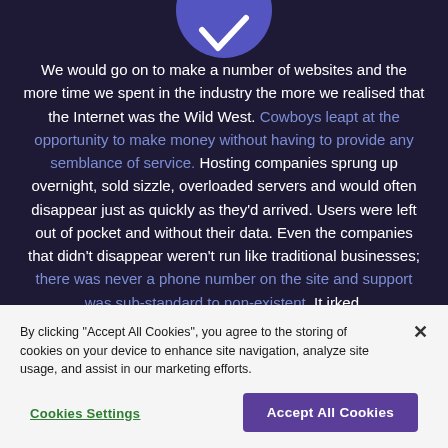[Figure (illustration): Partial circular icon with purple/blue coloring showing a checkmark or arrow symbol, cropped at top of page]
We would go on to make a number of websites and the more time we spent in the industry the more we realised that the Internet was the Wild West. Cowboys leapt at the opportunity to make money without having to provide any semblance of service. Hosting companies sprung up overnight, sold sizzle, overloaded servers and would often disappear just as quickly as they'd arrived. Users were left out of pocket and without their data. Even the companies that didn't disappear weren't run like traditional businesses; there was never a phone number on the site and support was sub-standard to non-existent. It irked.
By clicking "Accept All Cookies", you agree to the storing of cookies on your device to enhance site navigation, analyze site usage, and assist in our marketing efforts.
Cookies Settings
Accept All Cookies